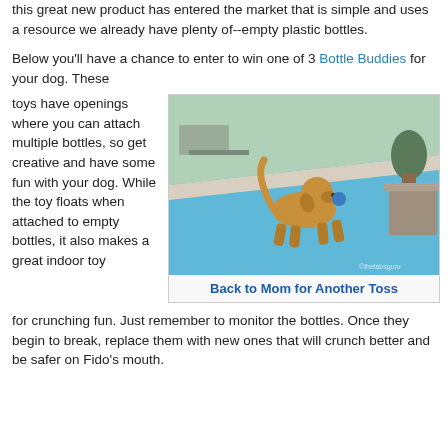this great new product has entered the market that is simple and uses a resource we already have plenty of--empty plastic bottles.
Below you'll have a chance to enter to win one of 3 Bottle Buddies for your dog. These toys have openings where you can attach multiple bottles, so get creative and have some fun with your dog. While the toy floats when attached to empty bottles, it also makes a great indoor toy for crunching fun. Just remember to monitor the bottles. Once they begin to break, replace them with new ones that will crunch better and be safer on Fido's mouth.
[Figure (photo): A golden retriever dog running along the edge of a swimming pool, carrying a toy in its mouth. The pool has blue water and there are patio chairs visible.]
Back to Mom for Another Toss